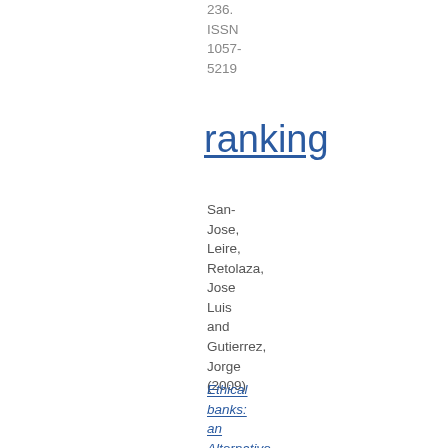236.
ISSN
1057-
5219
ranking
San-
Jose,
Leire,
Retolaza,
Jose
Luis
and
Gutierrez,
Jorge
(2009)
Ethical
banks:
an
Alternative